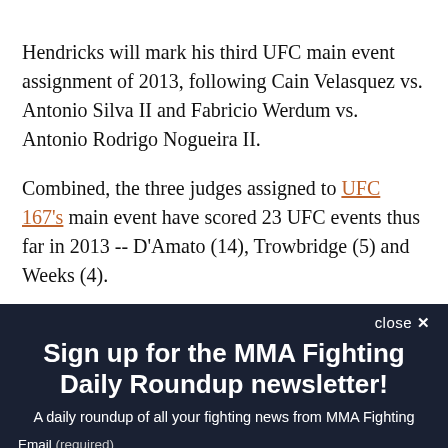Hendricks will mark his third UFC main event assignment of 2013, following Cain Velasquez vs. Antonio Silva II and Fabricio Werdum vs. Antonio Rodrigo Nogueira II.
Combined, the three judges assigned to UFC 167's main event have scored 23 UFC events thus far in 2013 -- D'Amato (14), Trowbridge (5) and Weeks (4).
close ×
Sign up for the MMA Fighting Daily Roundup newsletter!
A daily roundup of all your fighting news from MMA Fighting
Email (required)
SUBSCRIBE
By submitting your email, you agree to our Terms and Privacy Notice. You can opt out at any time. This site is protected by reCAPTCHA and the Google Privacy Policy and Terms of Service apply.